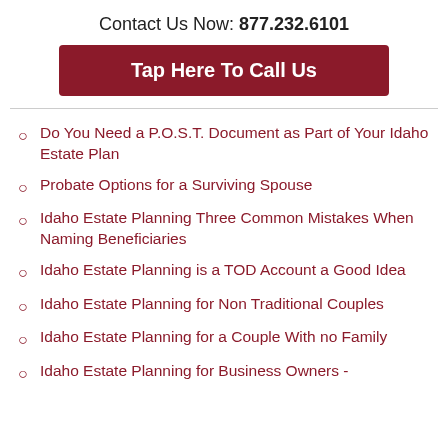Contact Us Now: 877.232.6101
[Figure (other): Dark red button with white bold text: Tap Here To Call Us]
Do You Need a P.O.S.T. Document as Part of Your Idaho Estate Plan
Probate Options for a Surviving Spouse
Idaho Estate Planning Three Common Mistakes When Naming Beneficiaries
Idaho Estate Planning is a TOD Account a Good Idea
Idaho Estate Planning for Non Traditional Couples
Idaho Estate Planning for a Couple With no Family
Idaho Estate Planning for Business Owners -